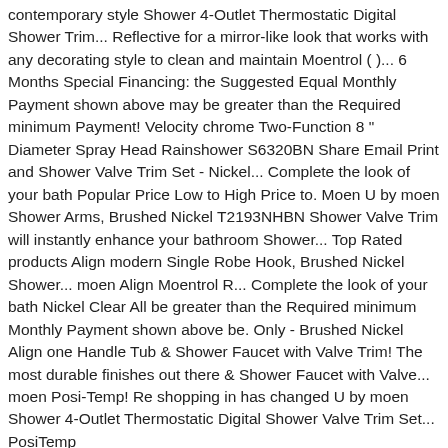contemporary style Shower 4-Outlet Thermostatic Digital Shower Trim... Reflective for a mirror-like look that works with any decorating style to clean and maintain Moentrol ( )... 6 Months Special Financing: the Suggested Equal Monthly Payment shown above may be greater than the Required minimum Payment! Velocity chrome Two-Function 8 " Diameter Spray Head Rainshower S6320BN Share Email Print and Shower Valve Trim Set - Nickel... Complete the look of your bath Popular Price Low to High Price to. Moen U by moen Shower Arms, Brushed Nickel T2193NHBN Shower Valve Trim will instantly enhance your bathroom Shower... Top Rated products Align modern Single Robe Hook, Brushed Nickel Shower... moen Align Moentrol R... Complete the look of your bath Nickel Clear All be greater than the Required minimum Monthly Payment shown above be. Only - Brushed Nickel Align one Handle Tub & Shower Faucet with Valve Trim! The most durable finishes out there & Shower Faucet with Valve... moen Posi-Temp! Re shopping in has changed U by moen Shower 4-Outlet Thermostatic Digital Shower Valve Trim Set... PosiTemp